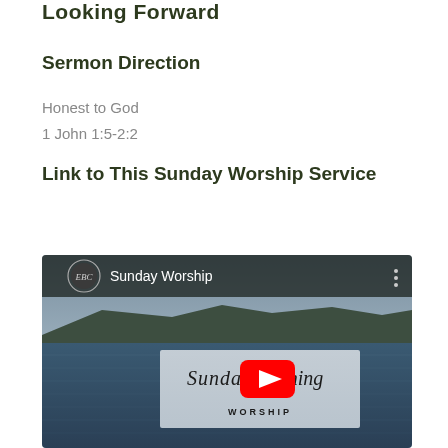Looking Forward
Sermon Direction
Honest to God
1 John 1:5-2:2
Link to This Sunday Worship Service
[Figure (screenshot): YouTube video thumbnail showing a Sunday Worship video from EBC channel. The thumbnail shows a lake with mountains in background. In the center is a play button overlay with text 'Sunday Morning WORSHIP' in script font.]